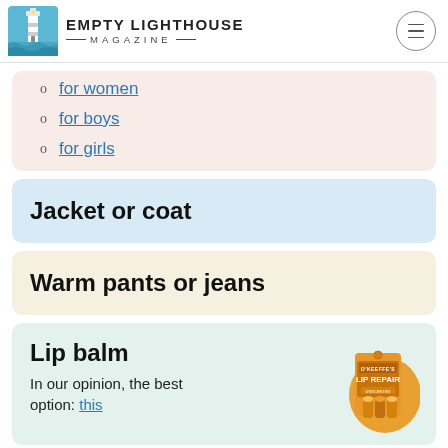EMPTY LIGHTHOUSE MAGAZINE
for women
for boys
for girls
Jacket or coat
Warm pants or jeans
Lip balm
In our opinion, the best option: this